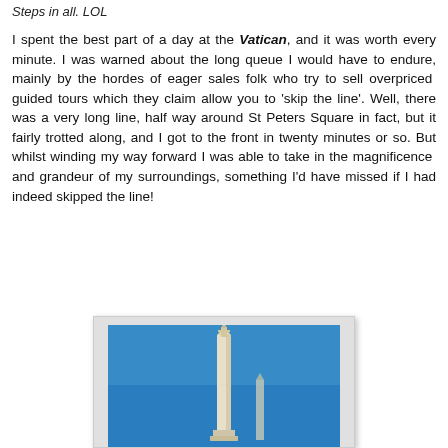Steps in all. LOL
I spent the best part of a day at the Vatican, and it was worth every minute. I was warned about the long queue I would have to endure, mainly by the hordes of eager sales folk who try to sell overpriced guided tours which they claim allow you to 'skip the line'. Well, there was a very long line, half way around St Peters Square in fact, but it fairly trotted along, and I got to the front in twenty minutes or so. But whilst winding my way forward I was able to take in the magnificence and grandeur of my surroundings, something I'd have missed if I had indeed skipped the line!
[Figure (photo): Photo of a tall obelisk against a vivid blue sky, likely in St Peter's Square, Vatican City]